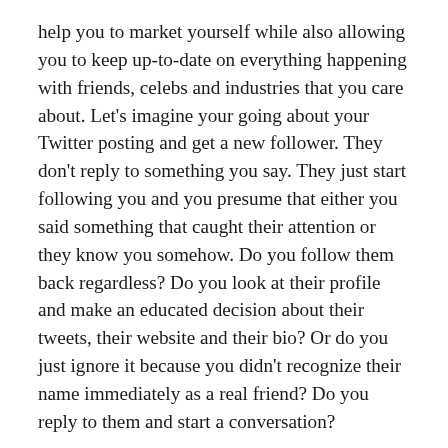help you to market yourself while also allowing you to keep up-to-date on everything happening with friends, celebs and industries that you care about. Let's imagine your going about your Twitter posting and get a new follower. They don't reply to something you say. They just start following you and you presume that either you said something that caught their attention or they know you somehow. Do you follow them back regardless? Do you look at their profile and make an educated decision about their tweets, their website and their bio? Or do you just ignore it because you didn't recognize their name immediately as a real friend? Do you reply to them and start a conversation?
Twitter has overtaken the social networking world with it's ease of use. The follow mechanic is it's way of casting aside the 1:1 true friends system. There's no reason to even write to the person explaining to them